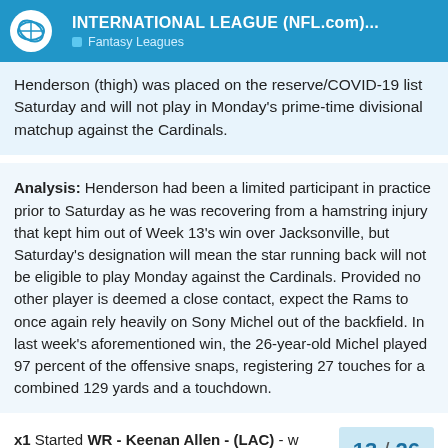THE FAN PUB — INTERNATIONAL LEAGUE (NFL.com)... Fantasy Leagues
Henderson (thigh) was placed on the reserve/COVID-19 list Saturday and will not play in Monday's prime-time divisional matchup against the Cardinals.
Analysis: Henderson had been a limited participant in practice prior to Saturday as he was recovering from a hamstring injury that kept him out of Week 13's win over Jacksonville, but Saturday's designation will mean the star running back will not be eligible to play Monday against the Cardinals. Provided no other player is deemed a close contact, expect the Rams to once again rely heavily on Sony Michel out of the backfield. In last week's aforementioned win, the 26-year-old Michel played 97 percent of the offensive snaps, registering 27 touches for a combined 129 yards and a touchdown.
x1 Started WR - Keenan Allen - (LAC) - w before his teams actual game day: